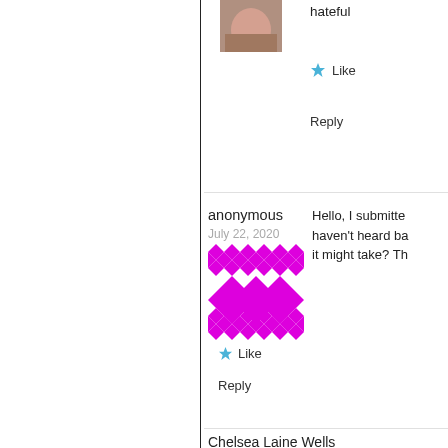[Figure (photo): Avatar photo of a person (partially visible at top), cropped]
hateful
★ Like
Reply
anonymous
July 22, 2020
[Figure (illustration): Default avatar with magenta/purple diamond pattern on white background]
Hello, I submitted haven't heard ba it might take? Th
★ Like
Reply
Chelsea Laine Wells
August 9, 2020
[Figure (photo): Avatar photo of Chelsea Laine Wells]
We've c accepta
★ Like
Reply
Maggie Frick
Do you guys gi